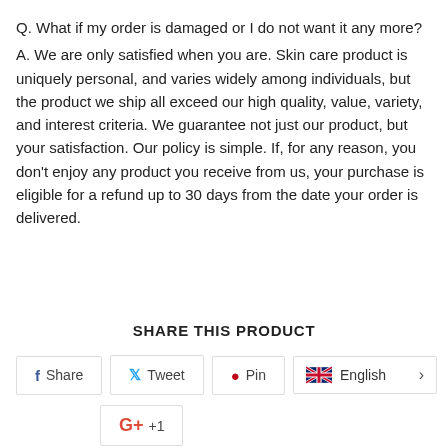Q. What if my order is damaged or I do not want it any more?
A. We are only satisfied when you are. Skin care product is uniquely personal, and varies widely among individuals, but the product we ship all exceed our high quality, value, variety, and interest criteria. We guarantee not just our product, but your satisfaction. Our policy is simple. If, for any reason, you don't enjoy any product you receive from us, your purchase is eligible for a refund up to 30 days from the date your order is delivered.
SHARE THIS PRODUCT
[Figure (other): Social share buttons: Share (Facebook), Tweet (Twitter), Pin (Pinterest), English language selector with UK flag, and Google+1 button]